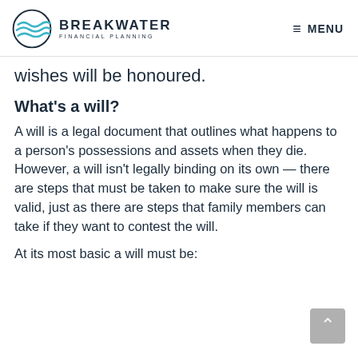BREAKWATER FINANCIAL PLANNING | MENU
wishes will be honoured.
What's a will?
A will is a legal document that outlines what happens to a person's possessions and assets when they die. However, a will isn't legally binding on its own — there are steps that must be taken to make sure the will is valid, just as there are steps that family members can take if they want to contest the will.
At its most basic a will must be: